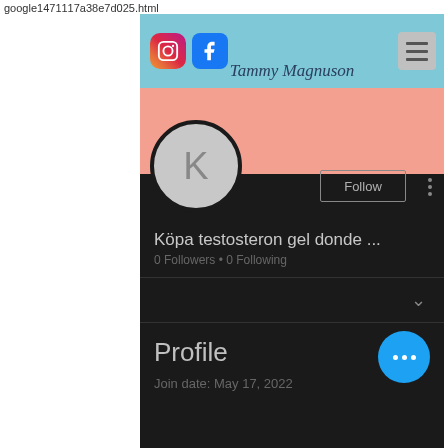google1471117a38e7d025.html
[Figure (screenshot): Social media profile page for Tammy Magnuson with Instagram and Facebook icons, salmon cover photo, avatar with letter K, Follow button, username 'Köpa testosteron gel donde ...', 0 Followers, 0 Following, Profile section with Join date May 17 2022]
Tammy Magnuson
Köpa testosteron gel donde ...
0 Followers • 0 Following
Profile
Join date: May 17, 2022